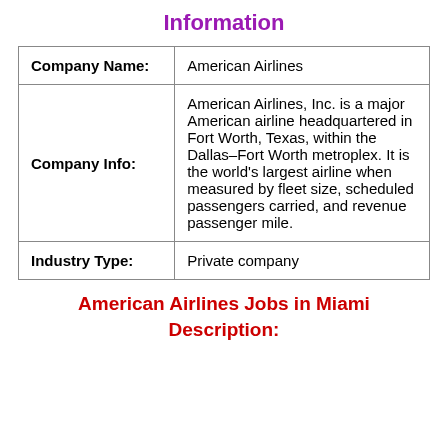Information
| Company Name: | American Airlines |
| Company Info: | American Airlines, Inc. is a major American airline headquartered in Fort Worth, Texas, within the Dallas–Fort Worth metroplex. It is the world's largest airline when measured by fleet size, scheduled passengers carried, and revenue passenger mile. |
| Industry Type: | Private company |
American Airlines Jobs in Miami
Description: